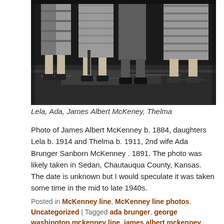[Figure (photo): Black and white photograph showing the lower halves (waists to feet) of four people standing on grass. They are wearing dresses/skirts and shoes, visible from approximately the waist down. The people are identified as Lela, Ada, James Albert McKeney, and Thelma.]
Lela, Ada, James Albert McKeney, Thelma
Photo of James Albert McKenney b. 1884, daughters Lela b. 1914 and Thelma b. 1911, 2nd wife Ada Brunger Sanborn McKenney . 1891. The photo was likely taken in Sedan, Chautauqua County, Kansas. The date is unknown but I would speculate it was taken some time in the mid to late 1940s.
Posted in McKenney line, McKenney line photos, Uncategorized | Tagged ada brunger, george washington mckenney line, james albert mckenney, lela mckenney